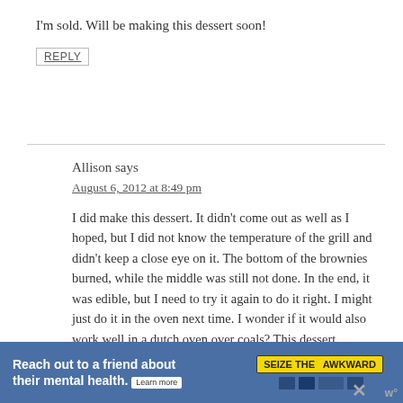I'm sold. Will be making this dessert soon!
REPLY
Allison says
August 6, 2012 at 8:49 pm
I did make this dessert. It didn't come out as well as I hoped, but I did not know the temperature of the grill and didn't keep a close eye on it. The bottom of the brownies burned, while the middle was still not done. In the end, it was edible, but I need to try it again to do it right. I might just do it in the oven next time. I wonder if it would also work well in a dutch oven over coals? This dessert
[Figure (infographic): Advertisement banner: 'Reach out to a friend about their mental health. Learn more' with 'SEIZE THE AWKWARD' badge and ad council logos]